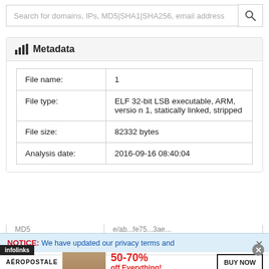Search for domains, IPs, MD5|SHA1|SHA256, email address
Metadata
| Field | Value |
| --- | --- |
| File name: | 1 |
| File type: | ELF 32-bit LSB executable, ARM, version 1, statically linked, stripped |
| File size: | 82332 bytes |
| Analysis date: | 2016-09-16 08:40:04 |
| MD5 |  |
NOTICE: We have updated our privacy terms and
[Figure (screenshot): Aeropostale advertisement banner: 50-70% off Everything! BUY NOW]
infolinks